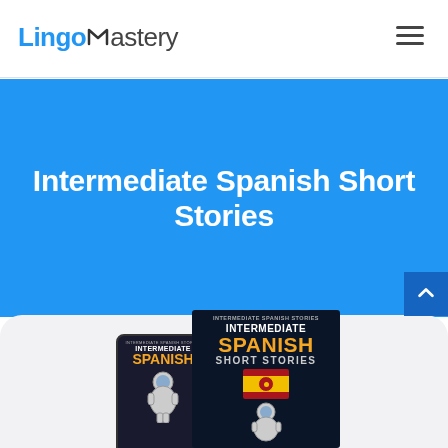[Figure (logo): LingoMastery logo with blue 'Lingo' text and grey 'Mastery' text with a stylized M icon]
[Figure (infographic): Hamburger menu icon (three horizontal lines) in the top right corner]
Intermediate Spanish Short Stories
[Figure (illustration): Book mockup showing 'Intermediate Spanish Short Stories' book cover with Spanish flag, and a phone/tablet device showing the same book digitally. Dark background with orange 'SPANISH' text and astronaut illustration.]